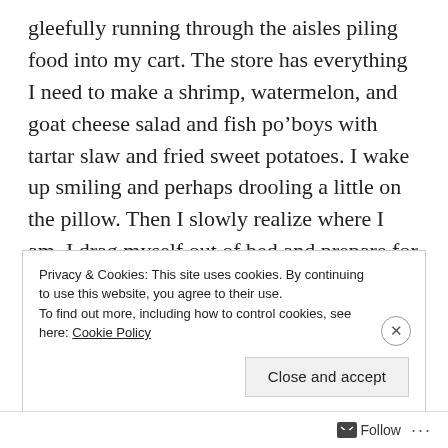gleefully running through the aisles piling food into my cart. The store has everything I need to make a shrimp, watermelon, and goat cheese salad and fish po’boys with tartar slaw and fried sweet potatoes. I wake up smiling and perhaps drooling a little on the pillow. Then I slowly realize where I am. I drag myself out of bed and prepare for the most irritating part of my day: going to the grocery store. CONTINUE READING →
Privacy & Cookies: This site uses cookies. By continuing to use this website, you agree to their use.
To find out more, including how to control cookies, see here: Cookie Policy
Close and accept
Follow ...